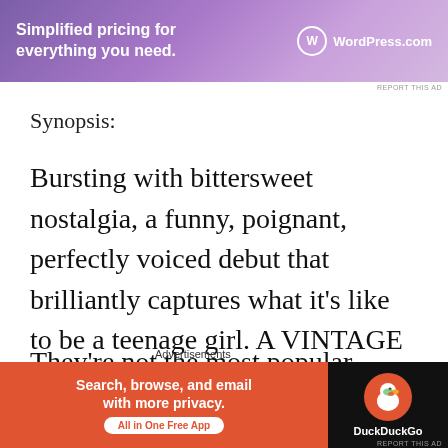[Figure (screenshot): WordPress.com banner ad with purple gradient background. Text: 'Simplified pricing for everything you need.' with WordPress.com logo.]
Synopsis:
Bursting with bittersweet nostalgia, a funny, poignant, perfectly voiced debut that brilliantly captures what it's like to be a teenage girl. A VINTAGE ORIGINAL.
They're not the most popular freshmen at their Florida prep school, but at least everyone knows
Advertisements
[Figure (screenshot): DuckDuckGo banner ad. Left side orange with text 'Search, browse, and email with more privacy. All in One Free App'. Right side dark with DuckDuckGo duck logo.]